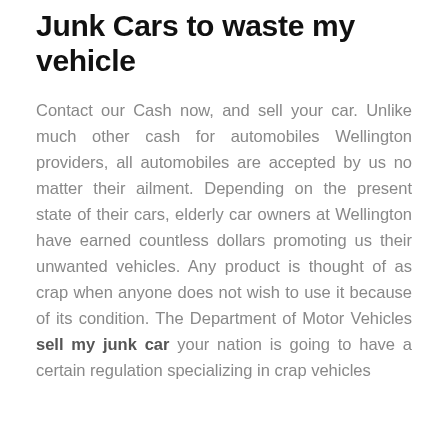Junk Cars to waste my vehicle
Contact our Cash now, and sell your car. Unlike much other cash for automobiles Wellington providers, all automobiles are accepted by us no matter their ailment. Depending on the present state of their cars, elderly car owners at Wellington have earned countless dollars promoting us their unwanted vehicles. Any product is thought of as crap when anyone does not wish to use it because of its condition. The Department of Motor Vehicles sell my junk car your nation is going to have a certain regulation specializing in crap vehicles